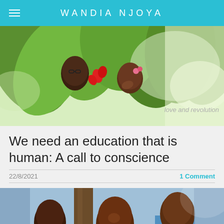WANDIA NJOYA
[Figure (photo): Two children (a boy with glasses and a girl) partially obscured by lush green tropical plants with red flowers. Text overlay reads 'love and revolution'.]
We need an education that is human: A call to conscience
22/8/2021
1 Comment
[Figure (photo): Group of African children standing near a tree, wearing light blue school uniforms, looking at the camera.]